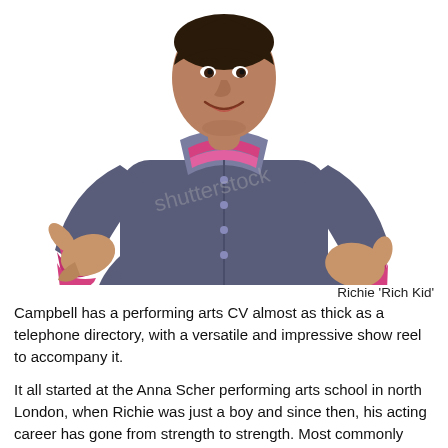[Figure (photo): A man wearing a dark blue/grey varsity jacket with pink/magenta trim on the collar and cuffs, smiling and pointing with one hand while the other is loosely open, photographed from roughly chest up against a white background.]
Richie ‘Rich Kid’ Campbell has a performing arts CV almost as thick as a telephone directory, with a versatile and impressive show reel to accompany it.
It all started at the Anna Scher performing arts school in north London, when Richie was just a boy and since then, his acting career has gone from strength to strength. Most commonly known for his role as Dominic Hardy on ITV’s The Bill, a lot people do not